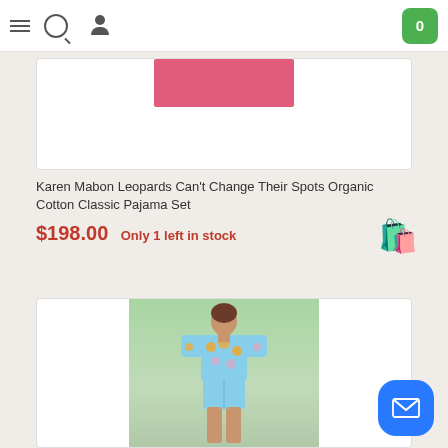Navigation bar with menu, search, user icons and shopping cart badge showing 0
[Figure (photo): Partial product image showing pink/red fabric against white background]
Karen Mabon Leopards Can't Change Their Spots Organic Cotton Classic Pajama Set
$198.00  Only 1 left in stock
[Figure (illustration): Orange shopping bag icon]
[Figure (photo): Model wearing blue floral short-sleeved pajama set (top and shorts) against sage green background]